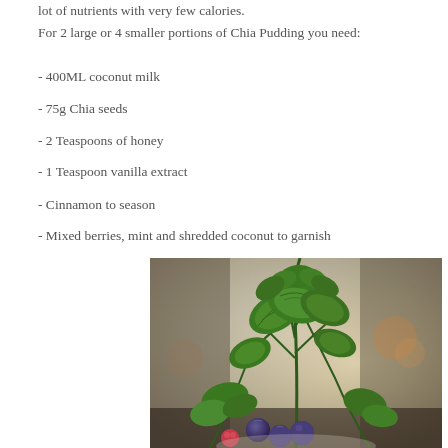lot of nutrients with very few calories.
For 2 large or 4 smaller portions of Chia Pudding you need:
- 400ML coconut milk
- 75g Chia seeds
- 2 Teaspoons of honey
- 1 Teaspoon vanilla extract
- Cinnamon to season
- Mixed berries, mint and shredded coconut to garnish
[Figure (photo): Close-up photo of fresh mint leaves with mixed berries (blueberries, raspberries) visible in the foreground, suggesting a chia pudding garnish]